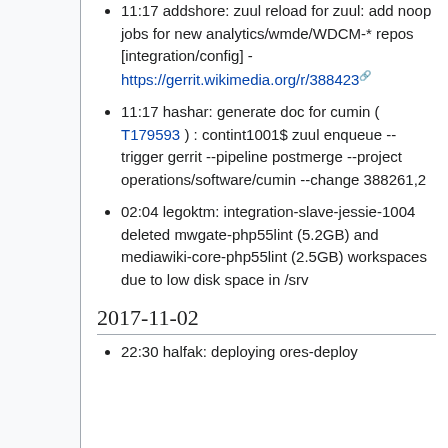11:17 addshore: zuul reload for zuul: add noop jobs for new analytics/wmde/WDCM-* repos [integration/config] - https://gerrit.wikimedia.org/r/3884223
11:17 hashar: generate doc for cumin ( T179593 ) : contint1001$ zuul enqueue --trigger gerrit --pipeline postmerge --project operations/software/cumin --change 388261,2
02:04 legoktm: integration-slave-jessie-1004 deleted mwgate-php55lint (5.2GB) and mediawiki-core-php55lint (2.5GB) workspaces due to low disk space in /srv
2017-11-02
22:30 halfak: deploying ores-deploy